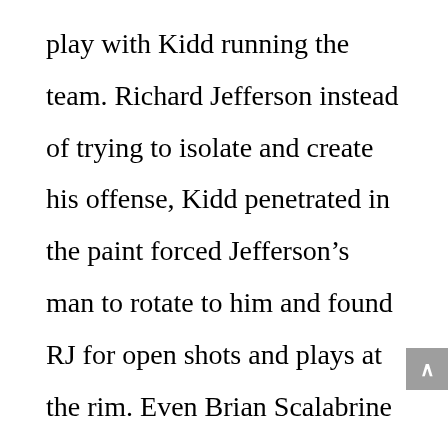play with Kidd running the team. Richard Jefferson instead of trying to isolate and create his offense, Kidd penetrated in the paint forced Jefferson's man to rotate to him and found RJ for open shots and plays at the rim. Even Brian Scalabrine benefited from Kidd being a spot up space power forward and signing a 15 million dollar contract with Boston.